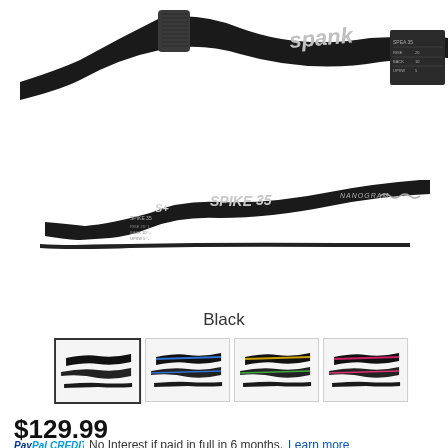[Figure (photo): Product photo of Spank Spike 35 mountain bike handlebars - two detailed close-up views showing the black bar with branding, and one full-length silhouette view of the handlebar.]
Black
[Figure (photo): Four thumbnail images showing the handlebar in different color variants: Black (selected), Blue, Green/Gold, Pink/Red.]
$129.99
PayPal CREDIT No Interest if paid in full in 6 months. Learn more